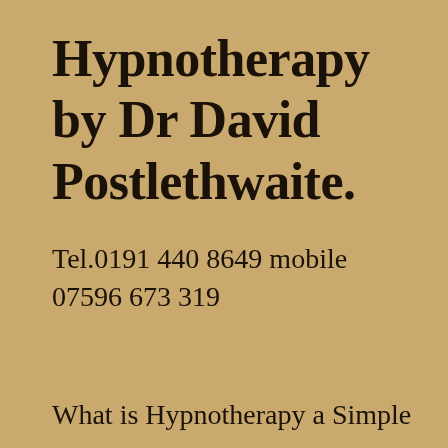Hypnotherapy by Dr David Postlethwaite.
Tel.0191 440 8649 mobile 07596 673 319
What is Hypnotherapy a Simple